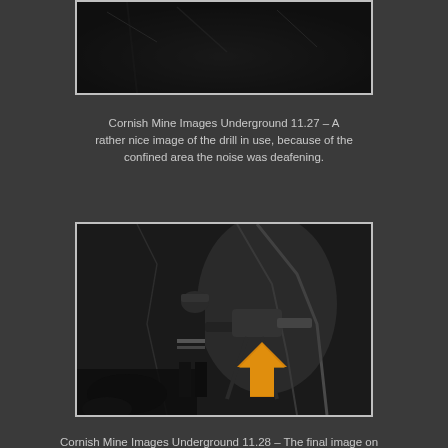[Figure (photo): Black and white photograph of underground mine drill in use, cropped at top of page]
Cornish Mine Images Underground 11.27 – A rather nice image of the drill in use, because of the confined area the noise was deafening.
[Figure (photo): Black and white photograph of Julian Collison drilling underground in a Cornish mine, using a Sig 29K rock drill. An orange up-arrow navigation icon appears in the lower right of the image.]
Cornish Mine Images Underground 11.28 – The final image on this page is of Julian Collison drilling. He is using is an Sig 29K rock